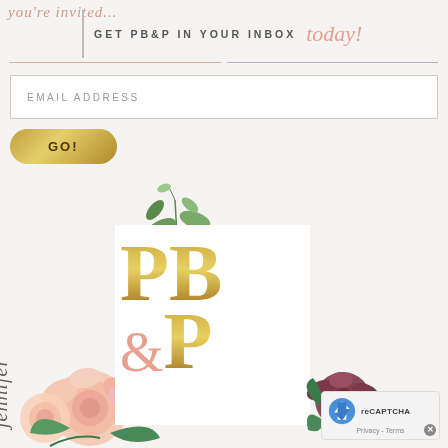GET PB&P IN YOUR INBOX today!
[Figure (illustration): Email subscription form with email address input field and GO! button with gold gradient styling]
[Figure (logo): PB&P logo with large gold serif letters P, B, &, P arranged in two rows with floral botanical decorations around it. An ampersand in pink/coral. Script text 'jennifer' rotated vertically on left side.]
[Figure (other): reCAPTCHA Privacy - Terms badge in bottom right corner with X close button]